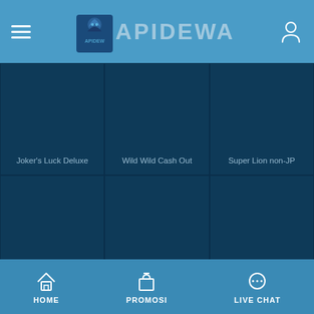APIDEWA
[Figure (screenshot): Game card: Joker's Luck Deluxe]
[Figure (screenshot): Game card: Wild Wild Cash Out]
[Figure (screenshot): Game card: Super Lion non-JP]
[Figure (screenshot): Game card: Wicked Dice]
[Figure (screenshot): Game card: The Pearl Game]
[Figure (screenshot): Game card: Alive! Megaways]
HOME  PROMOSI  LIVE CHAT